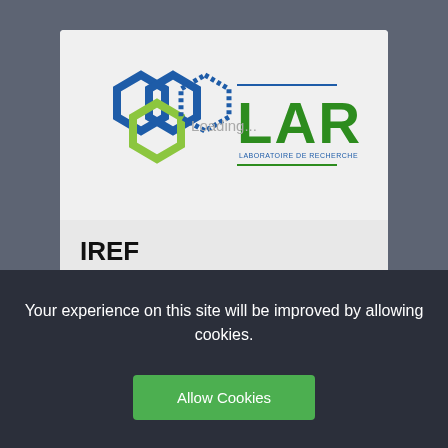[Figure (logo): LARIT logo with three hexagonal shapes (blue, blue, green) and the text LARIT in green with subtitle LABORATOIRE DE RECHERCHE EN INFORMATIQUE ET TELECOMMUNICATION]
IREF
Inovation dans les Réseaux du Futur
Loading...
Your experience on this site will be improved by allowing cookies.
Allow Cookies